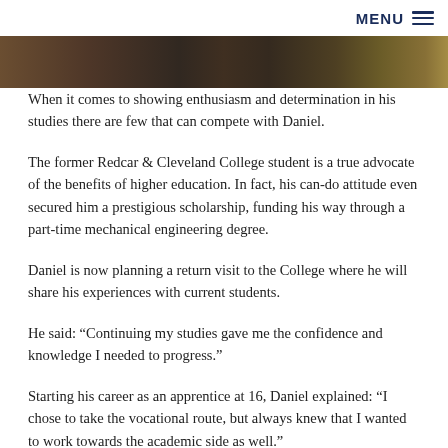MENU ☰
[Figure (photo): Dark photograph strip at top of page, appears to show people in a dimly lit setting]
When it comes to showing enthusiasm and determination in his studies there are few that can compete with Daniel.
The former Redcar & Cleveland College student is a true advocate of the benefits of higher education. In fact, his can-do attitude even secured him a prestigious scholarship, funding his way through a part-time mechanical engineering degree.
Daniel is now planning a return visit to the College where he will share his experiences with current students.
He said: “Continuing my studies gave me the confidence and knowledge I needed to progress.”
Starting his career as an apprentice at 16, Daniel explained: “I chose to take the vocational route, but always knew that I wanted to work towards the academic side as well.”
That is why, after successfully completing his level 2